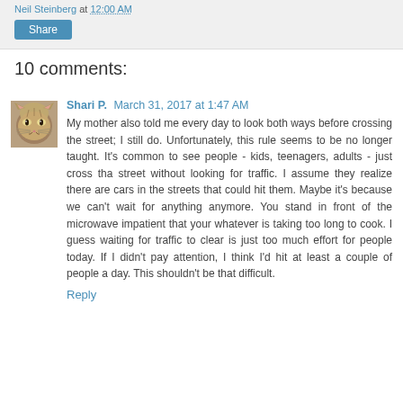Neil Steinberg at 12:00 AM
Share
10 comments:
Shari P. March 31, 2017 at 1:47 AM
My mother also told me every day to look both ways before crossing the street; I still do. Unfortunately, this rule seems to be no longer taught. It's common to see people - kids, teenagers, adults - just cross tha street without looking for traffic. I assume they realize there are cars in the streets that could hit them. Maybe it's because we can't wait for anything anymore. You stand in front of the microwave impatient that your whatever is taking too long to cook. I guess waiting for traffic to clear is just too much effort for people today. If I didn't pay attention, I think I'd hit at least a couple of people a day. This shouldn't be that difficult.
Reply